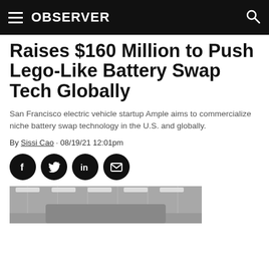OBSERVER
Raises $160 Million to Push Lego-Like Battery Swap Tech Globally
San Francisco electric vehicle startup Ample aims to commercialize niche battery swap technology in the U.S. and globally.
By Sissi Cao · 08/19/21 12:01pm
[Figure (other): Social share buttons: Facebook, Twitter, LinkedIn, Email]
[Figure (photo): Interior photo of what appears to be an industrial or garage facility with bright overhead lighting and a vehicle or equipment visible]